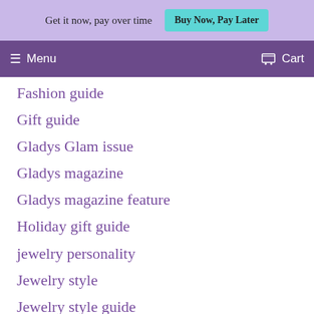Get it now, pay over time  Buy Now, Pay Later
Menu  Cart
Fashion guide
Gift guide
Gladys Glam issue
Gladys magazine
Gladys magazine feature
Holiday gift guide
jewelry personality
Jewelry style
Jewelry style guide
Kai necklace feature
Magazine feature
Mother's Day
Philanthropy
Sponsor a child